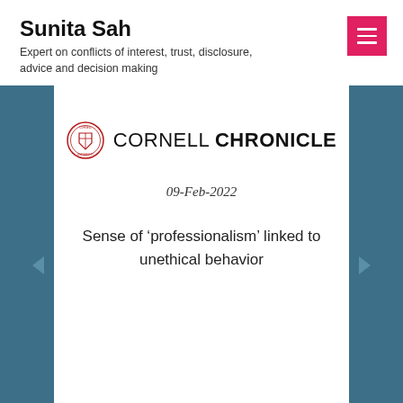Sunita Sah
Expert on conflicts of interest, trust, disclosure, advice and decision making
[Figure (logo): Cornell Chronicle logo with Cornell University seal on the left and 'CORNELL CHRONICLE' text on the right]
09-Feb-2022
Sense of ‘professionalism’ linked to unethical behavior